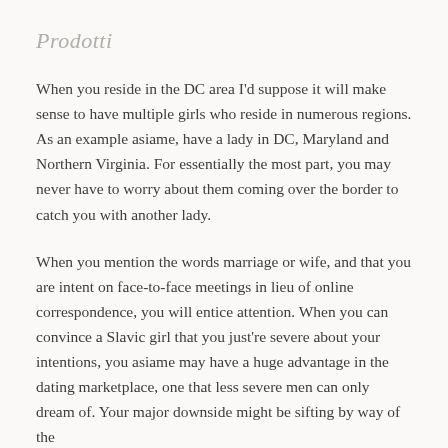Prodotti
When you reside in the DC area I'd suppose it will make sense to have multiple girls who reside in numerous regions. As an example asiame, have a lady in DC, Maryland and Northern Virginia. For essentially the most part, you may never have to worry about them coming over the border to catch you with another lady.
When you mention the words marriage or wife, and that you are intent on face-to-face meetings in lieu of online correspondence, you will entice attention. When you can convince a Slavic girl that you just're severe about your intentions, you asiame may have a huge advantage in the dating marketplace, one that less severe men can only dream of. Your major downside might be sifting by way of the